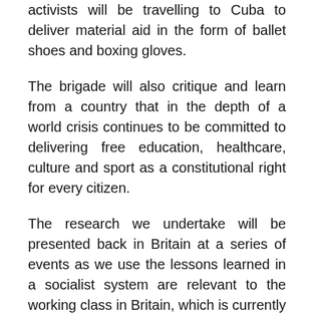That is why, on the 21st April, a group of 40 activists will be travelling to Cuba to deliver material aid in the form of ballet shoes and boxing gloves.
The brigade will also critique and learn from a country that in the depth of a world crisis continues to be committed to delivering free education, healthcare, culture and sport as a constitutional right for every citizen.
The research we undertake will be presented back in Britain at a series of events as we use the lessons learned in a socialist system are relevant to the working class in Britain, which is currently being brutalised at the hands of an ideologically-driven government that is dismantling and privatising the public sector and welfare state at every opportunity. Cuba has shown time and time again since 1959 that there is an alternative